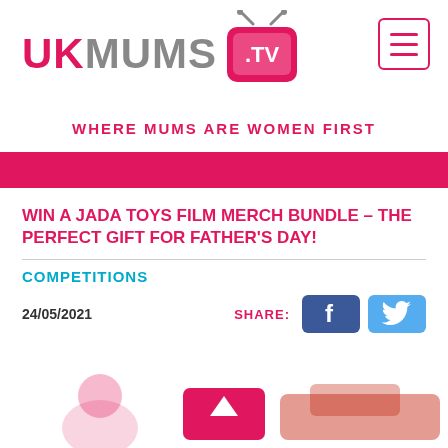[Figure (logo): UKMUMS.TV logo with pink TV icon]
[Figure (illustration): Hamburger menu icon with pink border]
WHERE MUMS ARE WOMEN FIRST
[Figure (illustration): Solid pink/magenta horizontal banner strip]
WIN A JADA TOYS FILM MERCH BUNDLE – THE PERFECT GIFT FOR FATHER'S DAY!
COMPETITIONS
24/05/2021
[Figure (illustration): Social share buttons: SHARE: Facebook and Twitter buttons]
[Figure (photo): Bottom portion of a promotional image showing a toy figure and a red car, with a pink play/scroll button overlay in the center]